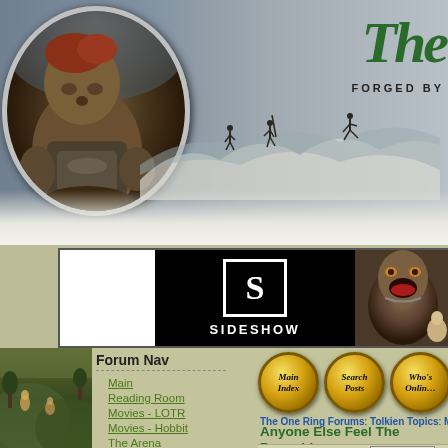[Figure (screenshot): TheOneRing.net website header banner with fantasy troll character in circular frame, mountain silhouettes with figures, 'The' logo text and 'FORGED BY' tagline in green]
[Figure (screenshot): Sideshow collectibles advertisement banner with white S logo on black background and movie creature image]
Forum Nav
Main
Reading Room
Movies - LOTR
Movies - Hobbit
The Arena
Gaming/Collecting
Fan Art
TORn Nav
Home
[Figure (screenshot): Gold circular button 'Main Index']
[Figure (screenshot): Gold circular button 'Search Posts']
[Figure (screenshot): Gold circular button 'Who's Online']
The One Ring Forums: Tolkien Topics: Mov...
Anyone Else Feel The Preambl....?
<< < 1 2 3 > >> View All   Previous Th...
| User | Post Preview |
| --- | --- |
| DamienEngland
Rivendell | Anyone Else Feel... |